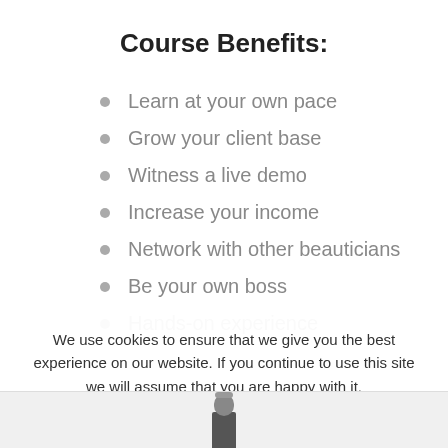Course Benefits:
Learn at your own pace
Grow your client base
Witness a live demo
Increase your income
Network with other beauticians
Be your own boss
Hands-on experience
We use cookies to ensure that we give you the best experience on our website. If you continue to use this site we will assume that you are happy with it.
ACCEPT
DECLINE
PRIVACY POLICY
[Figure (photo): Bottom of a lipstick product partially visible at bottom of page]